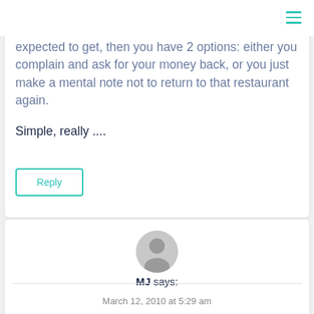expected to get, then you have 2 options: either you complain and ask for your money back, or you just make a mental note not to return to that restaurant again.
Simple, really ....
Reply
MJ says:
March 12, 2010 at 5:29 am